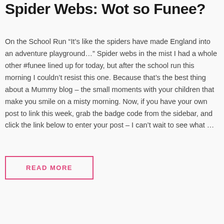Spider Webs: Wot so Funee?
On the School Run “It’s like the spiders have made England into an adventure playground…” Spider webs in the mist I had a whole other #funee lined up for today, but after the school run this morning I couldn’t resist this one. Because that’s the best thing about a Mummy blog – the small moments with your children that make you smile on a misty morning. Now, if you have your own post to link this week, grab the badge code from the sidebar, and click the link below to enter your post – I can’t wait to see what …
READ MORE